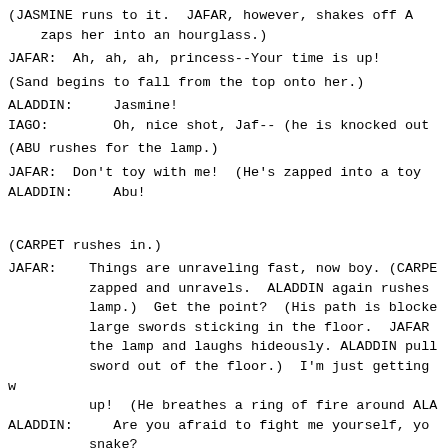(JASMINE runs to it.  JAFAR, however, shakes off A... zaps her into an hourglass.)
JAFAR:  Ah, ah, ah, princess--Your time is up!
(Sand begins to fall from the top onto her.)
ALADDIN:     Jasmine!
IAGO:        Oh, nice shot, Jaf-- (he is knocked out...
(ABU rushes for the lamp.)
JAFAR:  Don't toy with me!  (He's zapped into a toy...
ALADDIN:     Abu!
(CARPET rushes in.)
JAFAR:    Things are unraveling fast, now boy. (CARPE... zapped and unravels.  ALADDIN again rushes... lamp.)  Get the point?  (His path is blocke... large swords sticking in the floor.  JAFAR... the lamp and laughs hideously. ALADDIN pull... sword out of the floor.)  I'm just getting w... up!  (He breathes a ring of fire around ALA...
ALADDIN:    Are you afraid to fight me yourself, yo... snake?
JAFAR:     A snake, am I?  Perhaps you'd like to see h... snake like I can be. (He smiles broadly...